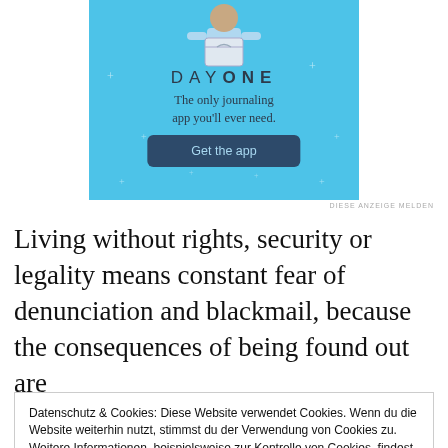[Figure (illustration): Day One journaling app advertisement banner with light blue background, app icon at top, title 'DAY ONE', subtitle 'The only journaling app you'll ever need.', and a dark blue 'Get the app' button. Small star/sparkle decorations scattered on the background.]
DIESE ANZEIGE MELDEN
Living without rights, security or legality means constant fear of denunciation and blackmail, because the consequences of being found out are
Datenschutz & Cookies: Diese Website verwendet Cookies. Wenn du die Website weiterhin nutzt, stimmst du der Verwendung von Cookies zu.
Weitere Informationen, beispielsweise zur Kontrolle von Cookies, findest du hier: Cookie-Richtlinie
frightening risk. Children cannot attend school or